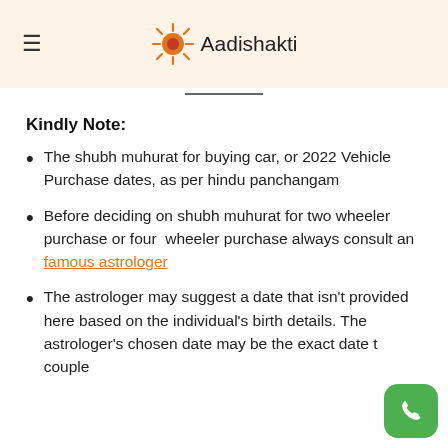Aadishakti
Kindly Note:
The shubh muhurat for buying car, or 2022 Vehicle Purchase dates, as per hindu panchangam
Before deciding on shubh muhurat for two wheeler purchase or four wheeler purchase always consult an famous astrologer
The astrologer may suggest a date that isn't provided here based on the individual's birth details. The astrologer's chosen date may be the exact date t couple